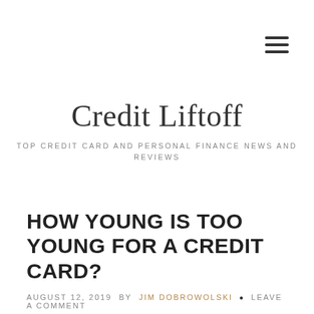[Figure (other): Hamburger menu icon (three horizontal lines) in top right corner]
Credit Liftoff
TOP CREDIT CARD AND PERSONAL FINANCE NEWS AND REVIEWS
HOW YOUNG IS TOO YOUNG FOR A CREDIT CARD?
AUGUST 12, 2019 BY JIM DOBROWOLSKI • LEAVE A COMMENT